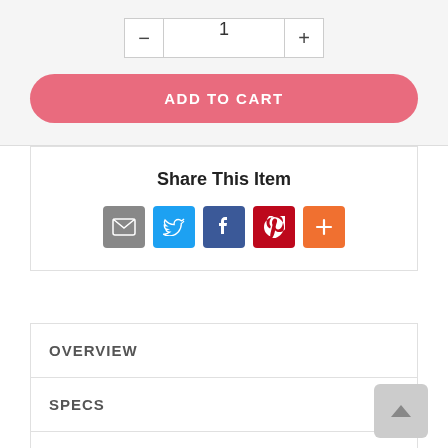[Figure (other): Quantity selector with minus button, input field showing 1, and plus button]
[Figure (other): Add to Cart pink rounded button]
Share This Item
[Figure (infographic): Social share icons: email (gray), Twitter (blue), Facebook (blue), Pinterest (red), More (orange)]
OVERVIEW
SPECS
DOCUMENTS